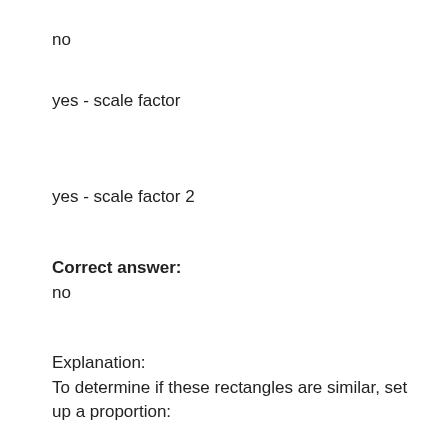no
yes - scale factor
yes - scale factor 2
Correct answer:
no
Explanation:
To determine if these rectangles are similar, set up a proportion:
This proportion compares the ratio between the long sides in each rectangle to the ratio of the short sides